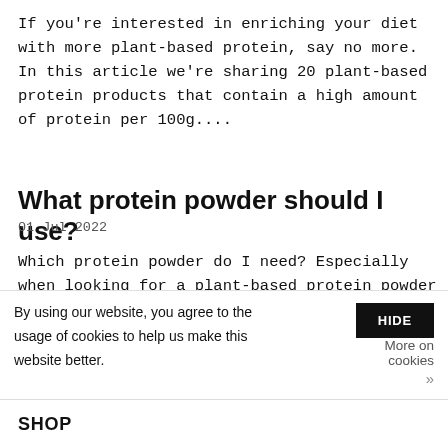If you're interested in enriching your diet with more plant-based protein, say no more. In this article we're sharing 20 plant-based protein products that contain a high amount of protein per 100g....
What protein powder should I use?
01 Jul 2022
Which protein powder do I need? Especially when looking for a plant-based protein powder you might end up finding yourself in a tangle of protein powders ranging from single pea protein to protein ble...
By using our website, you agree to the usage of cookies to help us make this website better.
HIDE
More on cookies »
SHOP